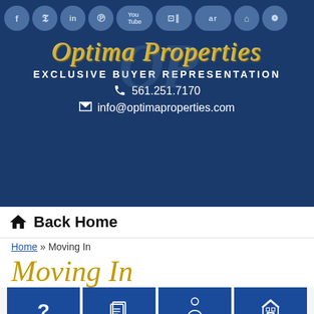[Figure (screenshot): Social media icons row: Facebook, Twitter, LinkedIn, Pinterest, YouTube, Instagram/Zillow combined, ar text, home icon, Yelp — all circular gray-blue icons on dark navy background]
[Figure (logo): Optima Properties cursive gold script logo with large OP watermark letters in background, on dark navy blue background]
EXCLUSIVE BUYER REPRESENTATION
561.251.7170
info@optimaproperties.com
Back Home
Home » Moving In
Moving In
[Figure (infographic): Four blue navigation cards with icons: Decide (question mark icon), Preparation (document icon), Choosing A Real Estate (person icon), Time to Go Shopping (house icon)]